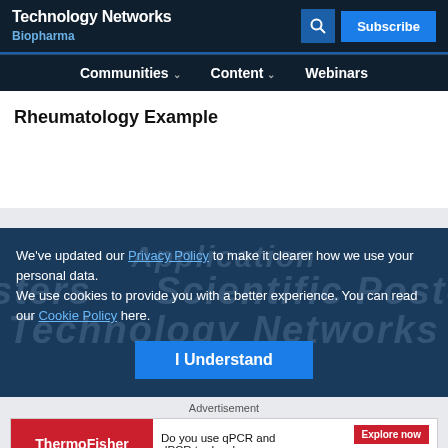Technology Networks Biopharma
Communities Content Webinars
Rheumatology Example
We've updated our Privacy Policy to make it clearer how we use your personal data.
We use cookies to provide you with a better experience. You can read our Cookie Policy here.
I Understand
Advertisement
[Figure (other): ThermoFisher Scientific advertisement banner: Do you use qPCR and dPCR to develop biologics? Explore now. applied biosystems.]